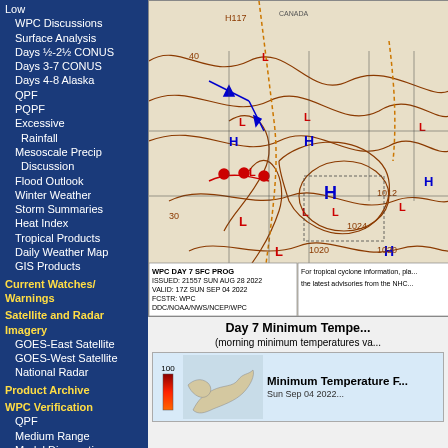Low
WPC Discussions
Surface Analysis
Days ½-2½ CONUS
Days 3-7 CONUS
Days 4-8 Alaska
QPF
PQPF
Excessive Rainfall
Mesoscale Precip Discussion
Flood Outlook
Winter Weather
Storm Summaries
Heat Index
Tropical Products
Daily Weather Map
GIS Products
Current Watches/ Warnings
Satellite and Radar Imagery
GOES-East Satellite
GOES-West Satellite
National Radar
Product Archive
WPC Verification
QPF
Medium Range
Model Diagnostics
[Figure (map): WPC Day 7 Surface Prognosis map showing pressure systems (H and L), fronts, isobars over the continental United States. Issued: 21557 SUN AUG 28 2022, Valid: 17Z SUN SEP 04 2022, FCSTR: WPC, DDC/NOAA/NWS/NCEP/WPC]
Day 7 Minimum Tempe...
(morning minimum temperatures va...
[Figure (map): Minimum Temperature Forecast map thumbnail, Sun Sep 04 2022]